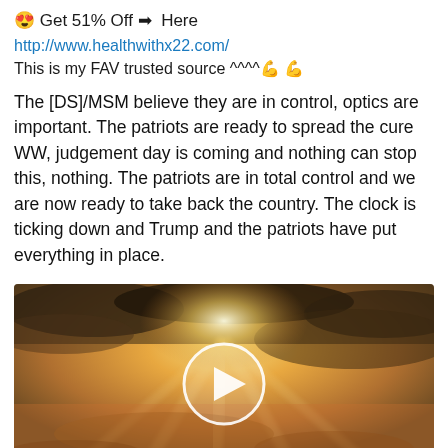😍 Get 51% Off ➡ Here
http://www.healthwithx22.com/
This is my FAV trusted source ^^^^💪💪
The [DS]/MSM believe they are in control, optics are important. The patriots are ready to spread the cure WW, judgement day is coming and nothing can stop this, nothing. The patriots are in total control and we are now ready to take back the country. The clock is ticking down and Trump and the patriots have put everything in place.
[Figure (photo): Video thumbnail showing dramatic sky with sunrays breaking through clouds, with a white circular play button overlay in the center]